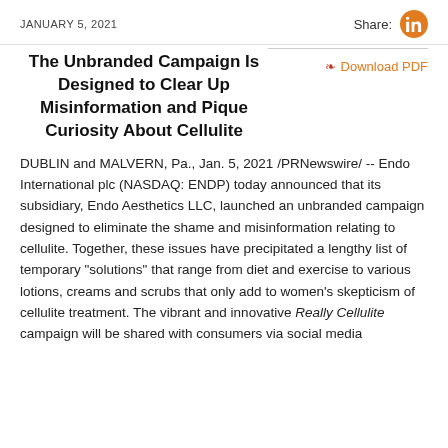JANUARY 5, 2021
The Unbranded Campaign Is Designed to Clear Up Misinformation and Pique Curiosity About Cellulite
DUBLIN and MALVERN, Pa., Jan. 5, 2021 /PRNewswire/ -- Endo International plc (NASDAQ: ENDP) today announced that its subsidiary, Endo Aesthetics LLC, launched an unbranded campaign designed to eliminate the shame and misinformation relating to cellulite. Together, these issues have precipitated a lengthy list of temporary "solutions" that range from diet and exercise to various lotions, creams and scrubs that only add to women's skepticism of cellulite treatment. The vibrant and innovative Really Cellulite campaign will be shared with consumers via social media